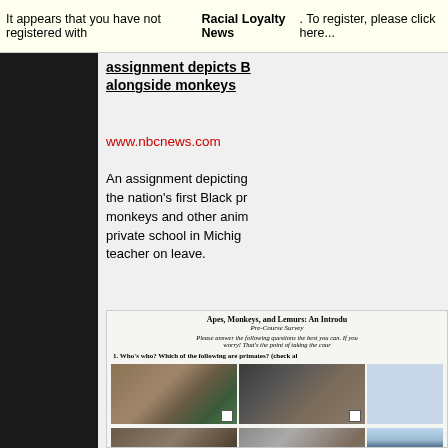It appears that you have not registered with Racial Loyalty News. To register, please click here...
assignment depicts B alongside monkeys
www.nbcnews.com
An assignment depicting the nation's first Black pr monkeys and other anim private school in Michi teacher on leave.
[Figure (photo): A worksheet titled 'Apes, Monkeys, and Lemurs: An Intro' with a Pre-Course Survey containing photos of animals and a photo of Barack Obama used as a 'Who's who?' identification exercise.]